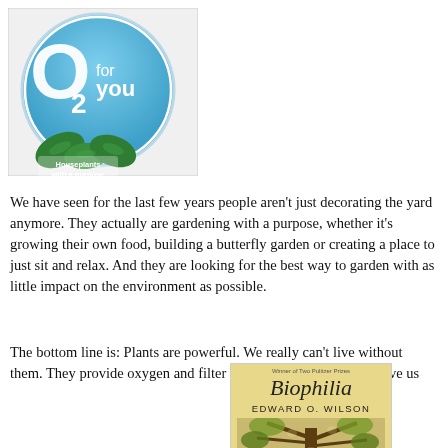[Figure (logo): O2 for you – Houseplants with a purpose logo: circular blue-green badge with large white O2 text, 'for you' in white, and green leaf silhouettes at bottom with tagline 'Houseplants with a purpose']
We have seen for the last few years people aren't just decorating the yard anymore. They actually are gardening with a purpose, whether it's growing their own food, building a butterfly garden or creating a place to just sit and relax. And they are looking for the best way to garden with as little impact on the environment as possible.
The bottom line is: Plants are powerful. We really can't live without them. They provide oxygen and filter VOCs from the air. They give us
[Figure (photo): Book cover of 'Biophilia' by Edward O. Wilson. Golden/tan background, italic cursive title 'Biophilia' at top, author name 'EDWARD O. WILSON' in spaced caps below, and a painted/illustrated nature scene at the bottom.]